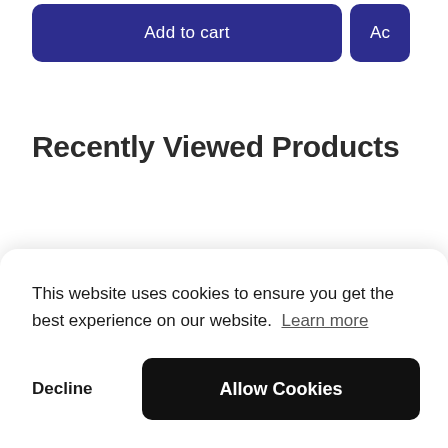[Figure (screenshot): Two 'Add to cart' buttons partially visible at the top of the page, with dark navy/indigo background color and white text]
Recently Viewed Products
This website uses cookies to ensure you get the best experience on our website.  Learn more
Decline
Allow Cookies